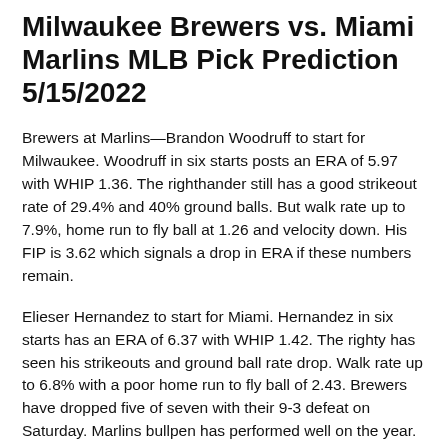Milwaukee Brewers vs. Miami Marlins MLB Pick Prediction 5/15/2022
Brewers at Marlins—Brandon Woodruff to start for Milwaukee. Woodruff in six starts posts an ERA of 5.97 with WHIP 1.36. The righthander still has a good strikeout rate of 29.4% and 40% ground balls. But walk rate up to 7.9%, home run to fly ball at 1.26 and velocity down. His FIP is 3.62 which signals a drop in ERA if these numbers remain.
Elieser Hernandez to start for Miami. Hernandez in six starts has an ERA of 6.37 with WHIP 1.42. The righty has seen his strikeouts and ground ball rate drop. Walk rate up to 6.8% with a poor home run to fly ball of 2.43. Brewers have dropped five of seven with their 9-3 defeat on Saturday. Marlins bullpen has performed well on the year. Play Miami +136.